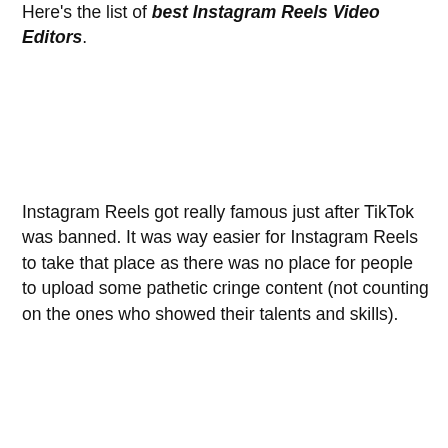Here's the list of best Instagram Reels Video Editors.
Instagram Reels got really famous just after TikTok was banned. It was way easier for Instagram Reels to take that place as there was no place for people to upload some pathetic cringe content (not counting on the ones who showed their talents and skills).